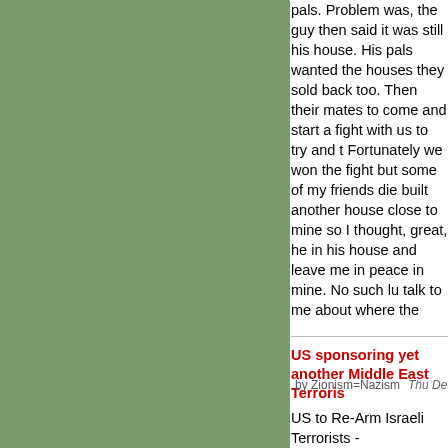pals. Problem was, the guy then said it was still his house. His pals wanted the houses they sold back too. Then their mates to come and start a fight with us to try and t Fortunately we won the fight but some of my friends die built another house close to mine so I thought, great, he in his house and leave me in peace in mine. No such lu talk to me about where the boundary was between his g years! Anyway, the guy kept on attacking my house and house. His pals did the same to my friends. More of my their big gang of mates got involved again and started t houses and throw big rocks at us. Eventually we got rea decided to occupy his house. And some of his pals and houses too. As soon as we did, we said right, if you agr we will get out of your houses. Straight away. We thoug offer. But his pals got together with their big gang of ma they wouldn't live in peace with us; no, they wouldn't tal wouldn't recognise our right to the houses they sold us. do? Some of the big gang of mates eventually did a dea of their houses. They don't fight with us any more. We e guys pals their houses back without doing a deal. But th of all. They're still fighting with us. What can we do?
US sponsoring yet another Middle East Terroris
by Zionism=Nazism   Thu Dec 13, 2012 21:04
US to Re-Arm Israeli Terrorists -
http://www.commondreams.org/headline/2012/12/12-9